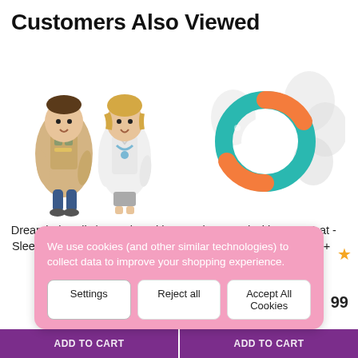Customers Also Viewed
[Figure (photo): Two children wearing Dreambaby bibs with sleeves — one dressed as a zookeeper, one as a doctor]
[Figure (photo): ClevaFeed with Extra Teat - Silicone Self Feeder, teal and orange ring shaped baby feeder with white teats]
Dreambaby Bib / Smocks With Sleeves - Zookeeper & Doctor 2Pk
ClevaFeed with Extra Teat - Silicone Self Feeder 6M+
We use cookies (and other similar technologies) to collect data to improve your shopping experience.
Settings | Reject all | Accept All Cookies
99